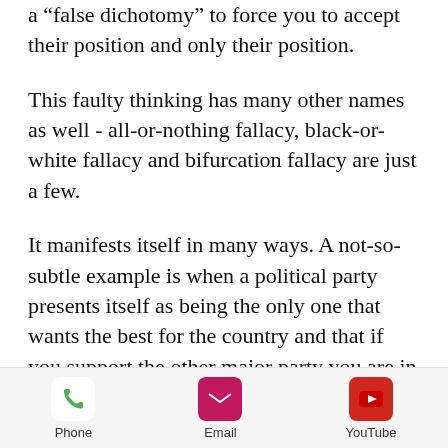a “false dichotomy” to force you to accept their position and only their position.
This faulty thinking has many other names as well - all-or-nothing fallacy, black-or-white fallacy and bifurcation fallacy are just a few.
It manifests itself in many ways. A not-so-subtle example is when a political party presents itself as being the only one that wants the best for the country and that if you support the other major party you are in favor of making things worse. “We support democracy - they
Phone   Email   YouTube